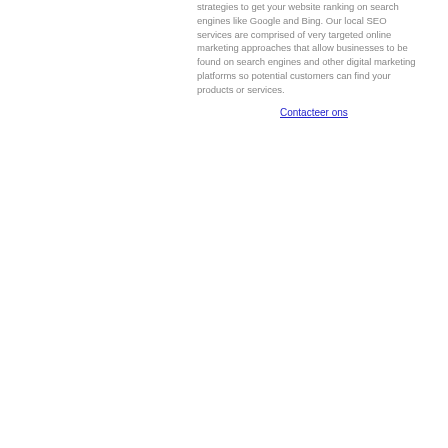strategies to get your website ranking on search engines like Google and Bing. Our local SEO services are comprised of very targeted online marketing approaches that allow businesses to be found on search engines and other digital marketing platforms so potential customers can find your products or services.
Contacteer ons